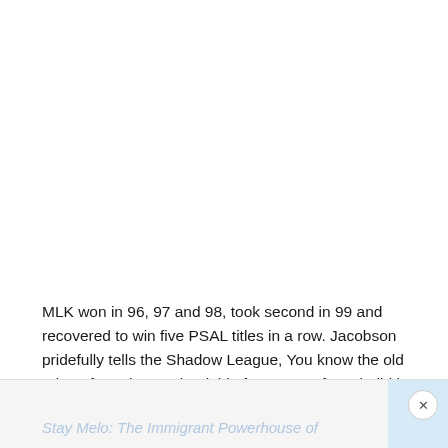MLK won in 96, 97 and 98, took second in 99 and recovered to win five PSAL titles in a row. Jacobson pridefully tells the Shadow League, You know the old adage from the movie Field of Dreams, 'If you build it they will come.'"
Stay Melo: The Immigrant Powerhouse of